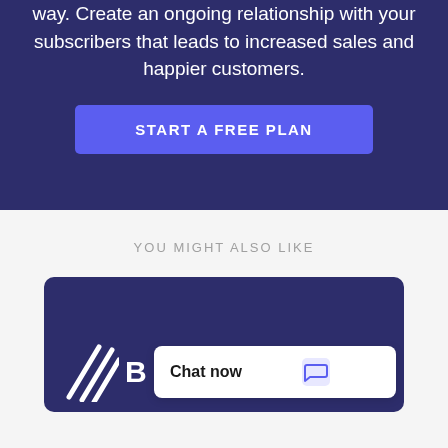way. Create an ongoing relationship with your subscribers that leads to increased sales and happier customers.
[Figure (other): Call-to-action button labeled START A FREE PLAN in blue/purple color]
YOU MIGHT ALSO LIKE
[Figure (other): Dark navy card with diagonal white lines logo and letter B, overlaid with a white chat bubble saying Chat now with a blue chat icon]